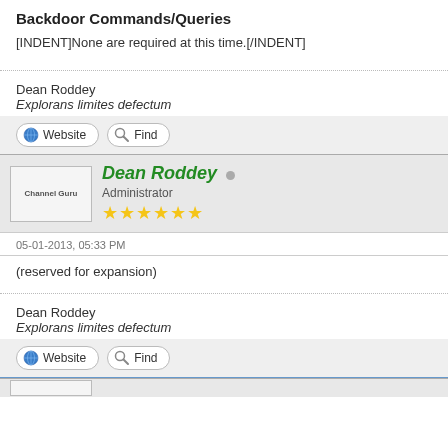Backdoor Commands/Queries
[INDENT]None are required at this time.[/INDENT]
Dean Roddey
Explorans limites defectum
Website  Find
[Figure (other): Forum post header with avatar placeholder 'Channel Guru', username 'Dean Roddey', status dot, role 'Administrator', and 6 gold stars]
05-01-2013, 05:33 PM
(reserved for expansion)
Dean Roddey
Explorans limites defectum
Website  Find